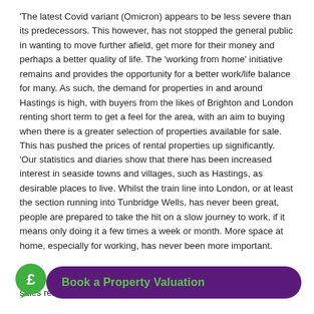'The latest Covid variant (Omicron) appears to be less severe than its predecessors. This however, has not stopped the general public in wanting to move further afield, get more for their money and perhaps a better quality of life. The 'working from home' initiative remains and provides the opportunity for a better work/life balance for many. As such, the demand for properties in and around Hastings is high, with buyers from the likes of Brighton and London renting short term to get a feel for the area, with an aim to buying when there is a greater selection of properties available for sale. This has pushed the prices of rental properties up significantly.
'Our statistics and diaries show that there has been increased interest in seaside towns and villages, such as Hastings, as desirable places to live. Whilst the train line into London, or at least the section running into Tunbridge Wells, has never been great, people are prepared to take the hit on a slow journey to work, if it means only doing it a few times a week or month. More space at home, especially for working, has never been more important.
'...ct to see a busy 2022. Whether that leans towards rentals or sales rem... ...onsidered increase in both.
[Figure (infographic): Green circular icon with pound sign (£) speech bubble logo, next to a dark purple rounded rectangle button with green text reading 'Book a Property Valuation']